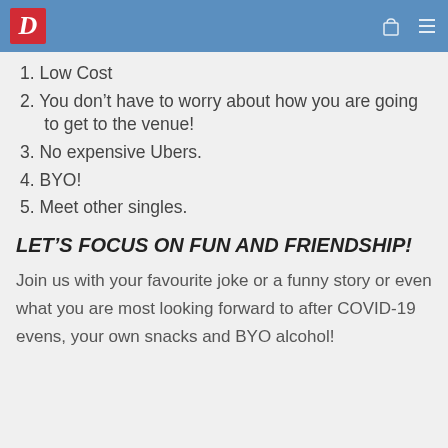D [logo] [cart icon] [menu icon]
1. Low Cost
2. You don’t have to worry about how you are going to get to the venue!
3. No expensive Ubers.
4. BYO!
5. Meet other singles.
LET’S FOCUS ON FUN AND FRIENDSHIP!
Join us with your favourite joke or a funny story or even what you are most looking forward to after COVID-19 evens, your own snacks and BYO alcohol!